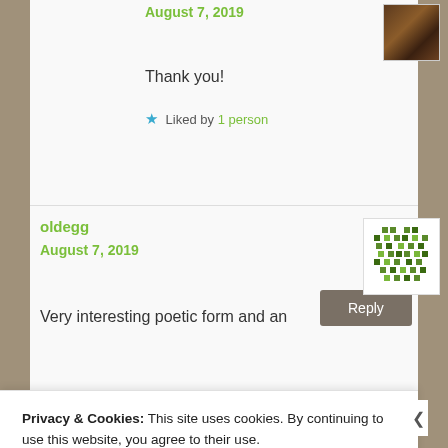August 7, 2019
Thank you!
★ Liked by 1 person
Reply
oldegg
August 7, 2019
[Figure (illustration): Green pixel/mosaic avatar icon for user oldegg]
Very interesting poetic form and an
Privacy & Cookies: This site uses cookies. By continuing to use this website, you agree to their use. To find out more, including how to control cookies, see here: Cookie Policy
Close and accept